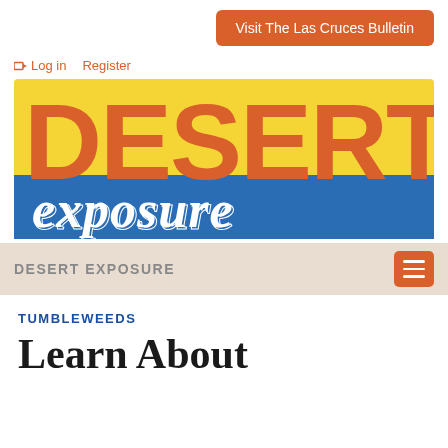Visit The Las Cruces Bulletin
➜ Log in   Register
[Figure (logo): Desert Exposure logo with large orange DESERT text on yellow background and 'exposure' in white italic script on blue band]
DESERT EXPOSURE
TUMBLEWEEDS
Learn About